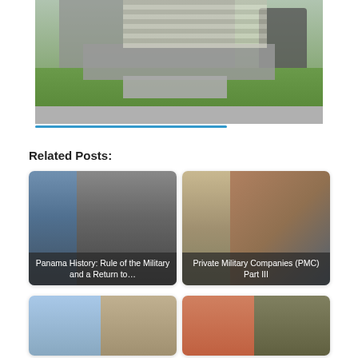[Figure (photo): Outdoor photo showing a monument or memorial structure with concrete steps/slabs and bushes, with a portrait image in the background on the right side.]
Related Posts:
[Figure (photo): Related post card showing two photos side by side: left is a harbor/marina scene in color, right is a black-and-white historical crowd scene. Overlay text reads: Panama History: Rule of the Military and a Return to…]
[Figure (photo): Related post card showing armed soldiers/security personnel in tactical gear. Overlay text reads: Private Military Companies (PMC) Part III]
[Figure (photo): Partial related post card showing two images, partially visible at bottom of page.]
[Figure (photo): Partial related post card showing two images, partially visible at bottom of page.]